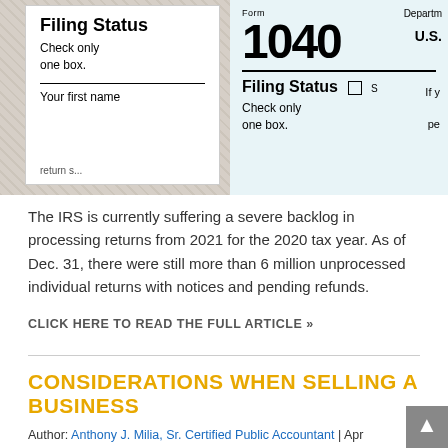[Figure (photo): Photo of IRS Form 1040 tax documents showing Filing Status sections, with two overlapping forms visible — one angled on the left and one flat on the right with a checkbox next to Filing Status.]
The IRS is currently suffering a severe backlog in processing returns from 2021 for the 2020 tax year. As of Dec. 31, there were still more than 6 million unprocessed individual returns with notices and pending refunds.
CLICK HERE TO READ THE FULL ARTICLE »
CONSIDERATIONS WHEN SELLING A BUSINESS
Author: Anthony J. Milia, Sr. Certified Public Accountant | Apr 2022 | Categories: Accounting, Fin...